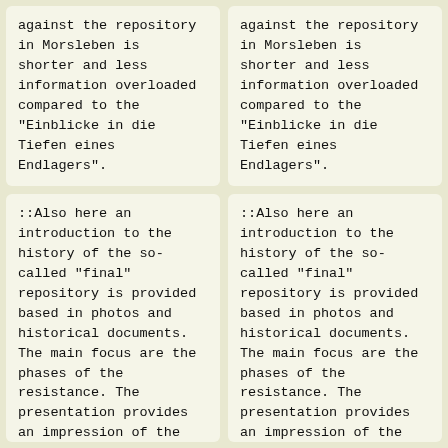against the repository in Morsleben is shorter and less information overloaded compared to the "Einblicke in die Tiefen eines Endlagers".
against the repository in Morsleben is shorter and less information overloaded compared to the "Einblicke in die Tiefen eines Endlagers".
::Also here an introduction to the history of the so-called "final" repository is provided based in photos and historical documents. The main focus are the phases of the resistance. The presentation provides an impression of the diversity and explains
::Also here an introduction to the history of the so-called "final" repository is provided based in photos and historical documents. The main focus are the phases of the resistance. The presentation provides an impression of the diversity and explains